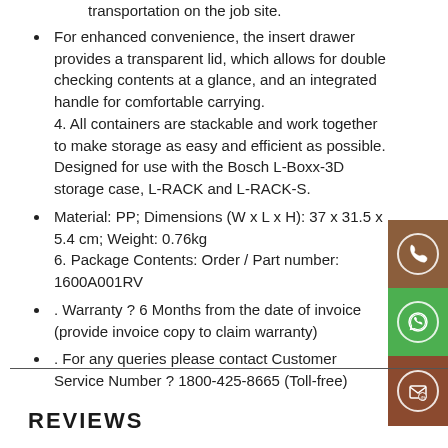transportation on the job site.
For enhanced convenience, the insert drawer provides a transparent lid, which allows for double checking contents at a glance, and an integrated handle for comfortable carrying. 4. All containers are stackable and work together to make storage as easy and efficient as possible. Designed for use with the Bosch L-Boxx-3D storage case, L-RACK and L-RACK-S.
Material: PP; Dimensions (W x L x H): 37 x 31.5 x 5.4 cm; Weight: 0.76kg 6. Package Contents: Order / Part number: 1600A001RV
. Warranty ? 6 Months from the date of invoice (provide invoice copy to claim warranty)
. For any queries please contact Customer Service Number ? 1800-425-8665 (Toll-free)
REVIEWS